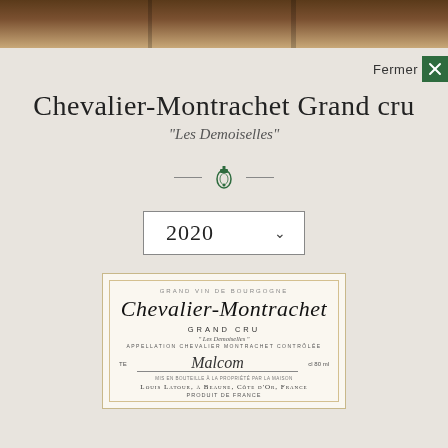[Figure (photo): Dark wood/barrel background photo bar at top of page]
Fermer ✕
Chevalier-Montrachet Grand cru
"Les Demoiselles"
[Figure (illustration): Green ornamental bell/crest icon with horizontal lines on each side]
2020 ▾
[Figure (illustration): Wine bottle label: Grand Vin de Bourgogne, Chevalier-Montrachet Grand Cru Les Demoiselles, Appellation Chevalier Montrachet Contrôlée, Louis Latour à Beaune, Côte d'Or, France, Produit de France]